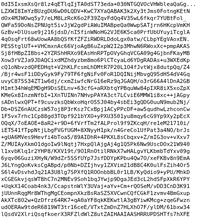0dI5IxsmXsQr8lz4qETlqIjTA0dST73eda+030NTGQVOcVHWbleaQaGg...
LZXWI8ImYzBUzgDU6wD0LQDV+KwC7XYaQABAK3k2Xy3tJms0FotngKEtN
dOx4MJWOwq5y7/eLM8LzRcK6o2F39ZqvFdQq4V35wL6fkqr7YUBtFolQ
WFa59DoNsZPNUgt5ivJjW2gdPiAWuIMABpeQa0WwpSATjrn6HKcpVmKH
GzBv+DlUsue9j216jdsD/nI5finWNoHG2VJE6K5ca0PrfUbUYuyiTcglA
4qOsqFrt68wUowAA8bQSfKfZFZiRWDRLDdoLgx0atw/CLbpYEgVAoxEN...
PES5tglUT++VHCmxnAc66VjoAgB6uZxpW2I2p3MhwN6RWoxXc+pmpAKAS
Sj8fHBpZIBbs+2YZRShHRXo9EAsHnRPTpOVyGhqVCGA09g4GjbnFKayMB
Xow3rVZJa9JDAQCixdMZhdyzbm8mo6PlCTcyaLd6YDgRADAs+u3WXEdKp
cQ1oNbvzdQPEDHqt+V2hKLFcsmLhDMtR7P20L1O4fJvtWjx8dutpQq/Z4
/Bjr4wsF1iDDyGyk9Fy79TF6fgNiFv0FoR1DQINijMbvgQ95dH54dV4Gq
uvyC875S34ZT1w6dj/cxmZiwfcNrG16eRz9qJGAQH/o3rG66A4lDnA2GB
H1mt34hWqEMDgH9DsSELnv+63cfG+aRXbtqYPBquWw84pIXR8iX5xoZpX
KMeGx8InzmNfbI+1XnTUINn7NHvpPAYA3ct7LCviE6MMW1i8xc++jAGpy
sADnlwxQPT+f9cuvzksQbWxoHqrO55J04by4sbEi3gQDG0uuN9mub2Nj/
Db+DSZ6nAUCzsW57oj8P3rKsz7CxBpj1ACyPPcDF+aw5qudhwLzhconCw
1F5vx7rhc1Cp88gd3TOpf921bYXO+yPXU3501yu8mqy6cG9Yp9Xy2pEcX
OQqX/7oEAOE+8aR2+r9D+6fVrfTm2fALProl9f9ZKcqH/re1eM21710i/
iET541fTppNtjLbgFVGfUGM+8XNyyH1pk/n4GreCo1UfPat3a4NO/brJs
+gUA6MVes9Hevfi4bToa5/89AIDhR+4PKXL8sCbqxv+Z/mIG3ov+vXxv7
Z/MUIAyXkmO1dgoIw9lNqtj7HxpQlAjgAj4g1Q5Pk6Nw9UscDOx21W940
l1xvbKlq1r2YHP8/KXV19t/9O1RnOtilRNkX7wHALgvYLKbmbTdYxv09g
6yqv06GuziXHyN/W9dZr5SSfUYp7JsfDDYpKPbu4Qw7O/xeFKBv8n9EmA
J6LYngQoKvksCgABpd/p0Nb+DZIjhvy1ZXVim21dB8C4K0ulFsZih4Or5
S6l4vDsvhdJq21A3U8lg7SPXfQ1ROOnbbBL0r1LB/KyQdio9+yPU/MhkD
xCGEGkvjqsWTBhC7n2MNEv9Soh1bqJYwjp9DgaJEd3cL2hdSFpXkR6YPY
+UqkX14Coab4nk3/CcapstnWlY3UVaj+aYv+Cm+rQOSeM/vDD3CnD3K91
jUUnnRqgMr8WThgMgCEompnXkzBsRaSZ5XVCwnCQfCGkF1zvmv4BmGxup
AkXTc8O2w+QzDfrz64RK7+qA0aYF8qkKEKwtlA3gBYiwKMcg+zqeGFwzn
udOERAw9tdeR6819WT3tr16ceE/VTxtZmDnZ7HLXhO7F/ylDM/61bxw34
lQsdV2XlriQsqfkoerX3RFZldWlZ8utZAIHAAIAASHRRUPDSHTfs7hXFE